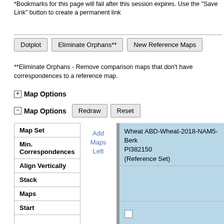*Bookmarks for this page will fail after this session expires. Use the "Save Link" button to create a permanent link
Dotplot | Eliminate Orphans** | New Reference Maps
**Eliminate Orphans - Remove comparison maps that don't have correspondences to a reference map.
⊞ Map Options
⊟ Map Options  Redraw  Reset
| Map Set |  | Wheat ABD-Wheat-2018-NAM5-Berk PI382150 (Reference Set) |
| --- | --- | --- |
| Min. Correspondences |  |  |
| Align Vertically |  | ☐ |
| Stack |  |  |
| Maps |  | Wheat-2018-NAM5-BxPI382150_1D |
| Start |  | 0 |